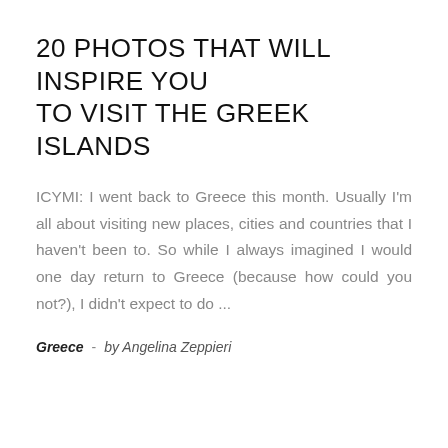20 PHOTOS THAT WILL INSPIRE YOU TO VISIT THE GREEK ISLANDS
ICYMI: I went back to Greece this month. Usually I'm all about visiting new places, cities and countries that I haven't been to. So while I always imagined I would one day return to Greece (because how could you not?), I didn't expect to do ...
Greece  -  by Angelina Zeppieri